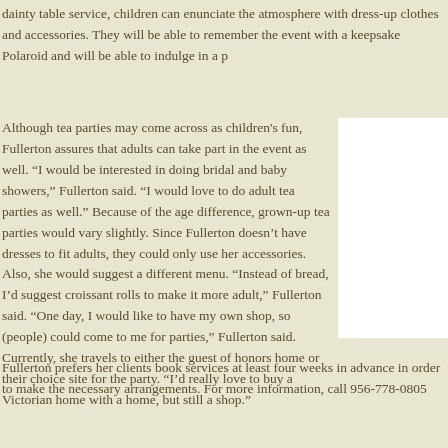dainty table service, children can enunciate the atmosphere with dress-up clothes and accessories. They will be able to remember the event with a keepsake Polaroid and will be able to indulge in a p
Although tea parties may come across as children's fun, Fullerton assures that adults can take part in the event as well. “I would be interested in doing bridal and baby showers,” Fullerton said. “I would love to do adult tea parties as well.” Because of the age difference, grown-up tea parties would vary slightly. Since Fullerton doesn’t have dresses to fit adults, they could only use her accessories. Also, she would suggest a different menu. “Instead of bread, I’d suggest croissant rolls to make it more adult,” Fullerton said. “One day, I would like to have my own shop, so (people) could come to me for parties,” Fullerton said. Currently, she travels to either the guest of honors home or their choice site for the party. “I’d really love to buy a Victorian home with a home, but still a shop.”
[Figure (photo): Photo placeholder (white box) to the right of the main article text]
Fullerton prefers her clients book services at least four weeks in advance in order to make the necessary arrangements. For more information, call 956-778-0805